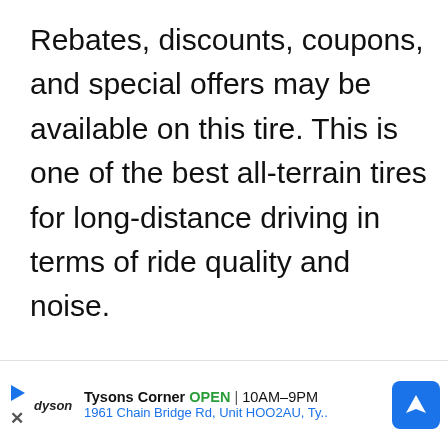Rebates, discounts, coupons, and special offers may be available on this tire. This is one of the best all-terrain tires for long-distance driving in terms of ride quality and noise.

The Grabber Apt comes in a variety of price ranges, depending on the available sizes. Rebates, discounts,
[Figure (screenshot): Video player overlay showing 'No compatible source was found for this media.' message and partial italic text 'How to check' below it, with a close (X) button in the top right corner]
[Figure (screenshot): Advertisement banner at the bottom: Dyson brand, Tysons Corner store listing showing OPEN 10AM-9PM, address 1961 Chain Bridge Rd, Unit HOO2AU, Ty.. with a blue navigation/directions icon on the right. Left side has a play button icon and an X close button.]